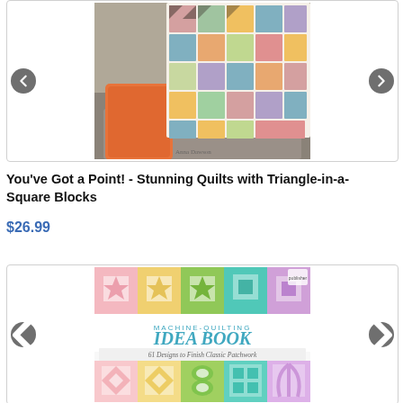[Figure (photo): Product image carousel showing a colorful quilt draped over a sofa with an orange pillow. Left and right navigation arrows visible.]
You've Got a Point! - Stunning Quilts with Triangle-in-a-Square Blocks
$26.99
[Figure (photo): Product image carousel showing the cover of 'Machine-Quilting Idea Book: 61 Designs to Finish Classic Patchwork'. Cover features colorful quilting block patterns in pink, yellow, green, teal, and purple. Left and right navigation arrows visible.]